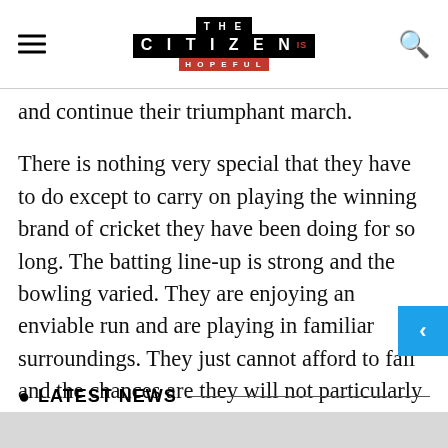THE CITIZEN IS HOPEFUL
and continue their triumphant march.
There is nothing very special that they have to do except to carry on playing the winning brand of cricket they have been doing for so long. The batting line-up is strong and the bowling varied. They are enjoying an enviable run and are playing in familiar surroundings. They just cannot afford to fail and the chances are they will not particularly as they are playing under a captain who can do no wrong with the bat or as a leader.
LATEST NEWS